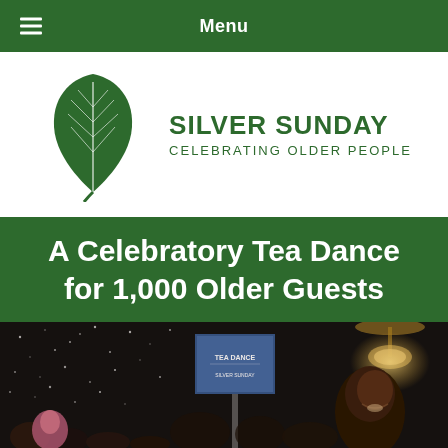Menu
[Figure (logo): Silver Sunday logo: green leaf icon with text 'SILVER SUNDAY' and subtitle 'CELEBRATING OLDER PEOPLE']
A Celebratory Tea Dance for 1,000 Older Guests
[Figure (photo): Photo of a ballroom event with star-lit black backdrop, a TEA DANCE sign/banner, chandelier lighting, and a crowd of people including a prominent young man in the foreground right]